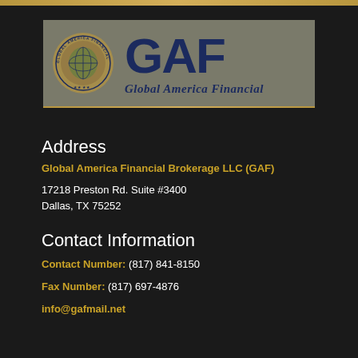[Figure (logo): Global America Financial (GAF) logo with circular seal on left and large 'GAF' text with 'Global America Financial' subtitle on grey background]
Address
Global America Financial Brokerage LLC (GAF)
17218 Preston Rd. Suite #3400
Dallas, TX 75252
Contact Information
Contact Number: (817) 841-8150
Fax Number: (817) 697-4876
info@gafmail.net